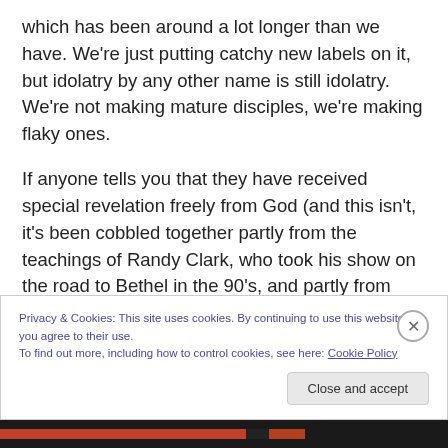which has been around a lot longer than we have.  We're just putting catchy new labels on it, but idolatry by any other name is still idolatry.  We're not making mature disciples, we're making flaky ones.

If anyone tells you that they have received special revelation freely from God (and this isn't, it's been cobbled together partly from the teachings of Randy Clark, who took his show on the road to Bethel in the 90's, and partly from 'deliverance' ministries in Argentina) and they want you to pay them in order to receive this special revelation
Privacy & Cookies: This site uses cookies. By continuing to use this website, you agree to their use.
To find out more, including how to control cookies, see here: Cookie Policy
Close and accept